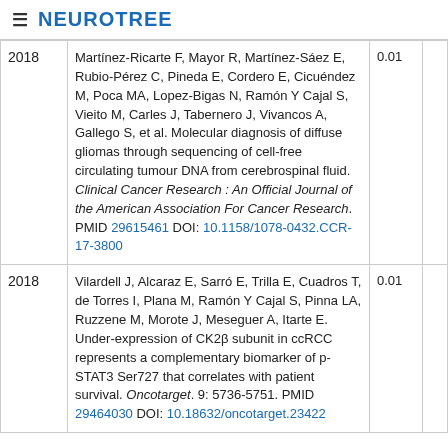≡ NEUROTREE
| Year | Reference | Score |  |
| --- | --- | --- | --- |
| 2018 | Martínez-Ricarte F, Mayor R, Martínez-Sáez E, Rubio-Pérez C, Pineda E, Cordero E, Cicuéndez M, Poca MA, Lopez-Bigas N, Ramón Y Cajal S, Vieito M, Carles J, Tabernero J, Vivancos A, Gallego S, et al. Molecular diagnosis of diffuse gliomas through sequencing of cell-free circulating tumour DNA from cerebrospinal fluid. Clinical Cancer Research : An Official Journal of the American Association For Cancer Research. PMID 29615461 DOI: 10.1158/1078-0432.CCR-17-3800 | 0.01 |  |
| 2018 | Vilardell J, Alcaraz E, Sarró E, Trilla E, Cuadros T, de Torres I, Plana M, Ramón Y Cajal S, Pinna LA, Ruzzene M, Morote J, Meseguer A, Itarte E. Under-expression of CK2β subunit in ccRCC represents a complementary biomarker of p-STAT3 Ser727 that correlates with patient survival. Oncotarget. 9: 5736-5751. PMID 29464030 DOI: 10.18632/oncotarget.23422 | 0.01 |  |